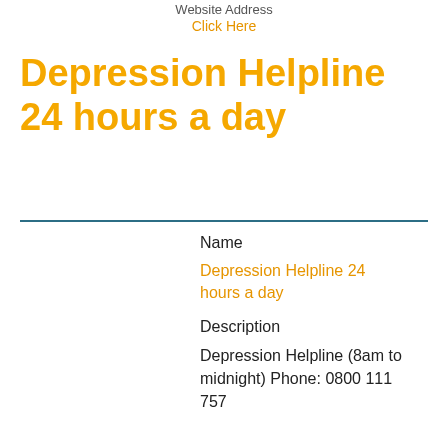Website Address
Click Here
Depression Helpline 24 hours a day
Name
Depression Helpline 24 hours a day
Description
Depression Helpline (8am to midnight) Phone: 0800 111 757